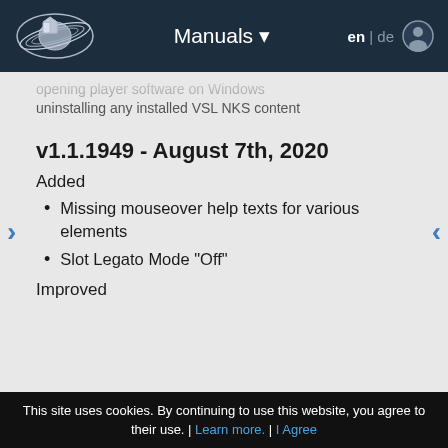Manuals ▾  en | de
uninstalling any installed VSL NKS content
v1.1.1949 - August 7th, 2020
Added
Missing mouseover help texts for various elements
Slot Legato Mode "Off"
Improved
This site uses cookies. By continuing to use this website, you agree to their use. | Learn more. | I Agree